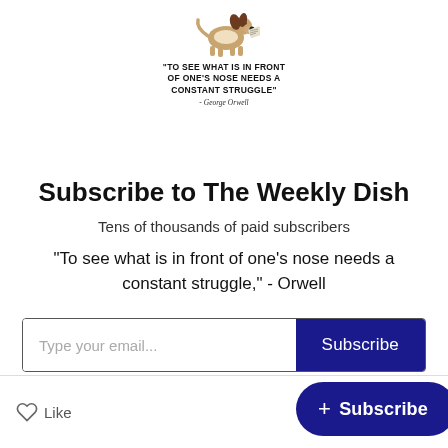[Figure (illustration): Cartoon dog (beagle) running with a newspaper in its mouth, serving as a newsletter logo]
"TO SEE WHAT IS IN FRONT OF ONE'S NOSE NEEDS A CONSTANT STRUGGLE"
- George Orwell
Subscribe to The Weekly Dish
Tens of thousands of paid subscribers
"To see what is in front of one's nose needs a constant struggle," - Orwell
Type your email... [Subscribe button]
Like
+ Subscribe